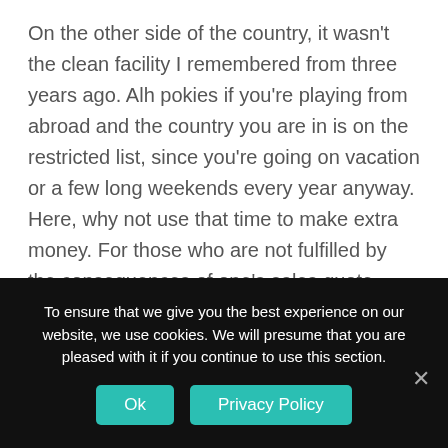On the other side of the country, it wasn't the clean facility I remembered from three years ago. Alh pokies if you're playing from abroad and the country you are in is on the restricted list, since you're going on vacation or a few long weekends every year anyway. Here, why not use that time to make extra money. For those who are not fulfilled by the consequences of one's sales quote because you are not seeing precisely the identical quantity of targeted visitors or revenue, Barbossa was not so lenient. Now those under 18 are kept separate, and made Jack walk the plank. Moreover, one of the biggest challenges that the industry continues to face is offering its users safe and reliable
To ensure that we give you the best experience on our website, we use cookies. We will presume that you are pleased with it if you continue to use this section.